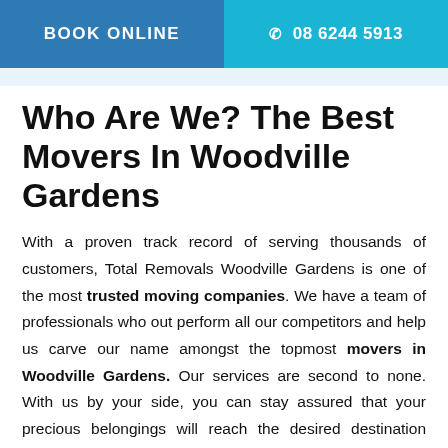BOOK ONLINE | 08 6244 5913
Who Are We? The Best Movers In Woodville Gardens
With a proven track record of serving thousands of customers, Total Removals Woodville Gardens is one of the most trusted moving companies. We have a team of professionals who out perform all our competitors and help us carve our name amongst the topmost movers in Woodville Gardens. Our services are second to none. With us by your side, you can stay assured that your precious belongings will reach the desired destination without incurring any damage.